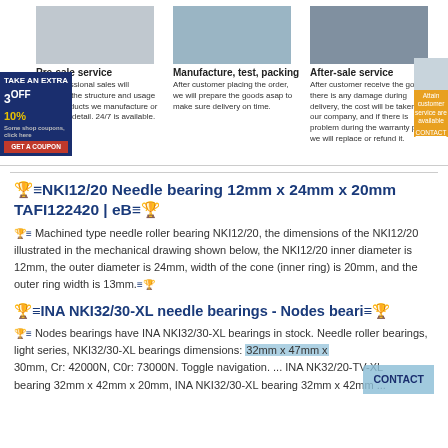[Figure (illustration): Three column service section: Pre-sale service (person at computer), Manufacture, test, packing (factory building with worker), After-sale service (group of workers). Each column has an illustration image, a bold title, and descriptive text. Promotional badge on left edge (3OFF 10%) and chat badge on right edge.]
🏆≡NKI12/20 Needle bearing 12mm x 24mm x 20mm TAFI122420 | eB≡🏆
🏆≡ Machined type needle roller bearing NKI12/20, the dimensions of the NKI12/20 illustrated in the mechanical drawing shown below, the NKI12/20 inner diameter is 12mm, the outer diameter is 24mm, width of the cone (inner ring) is 20mm, and the outer ring width is 13mm.≡🏆
🏆≡INA NKI32/30-XL needle bearings - Nodes beari≡🏆
🏆≡ Nodes bearings have INA NKI32/30-XL bearings in stock. Needle roller bearings, light series, NKI32/30-XL bearings dimensions: 32mm x 47mm x 30mm, Cr: 42000N, C0r: 73000N. Toggle navigation. ... INA NK32/20-TV-XL bearing 32mm x 42mm x 20mm, INA NKI32/30-XL bearing 32mm x 42mm ...